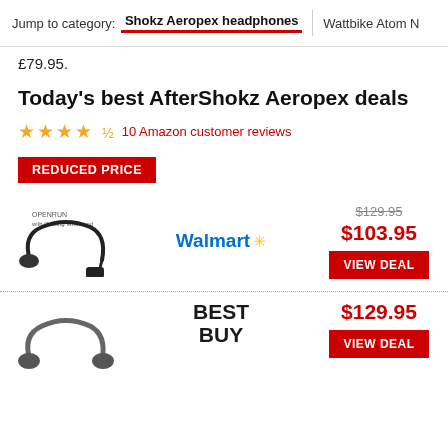Jump to category: Shokz Aeropex headphones | Wattbike Atom N
£79.95.
Today's best AfterShokz Aeropex deals
★★★★½ 10 Amazon customer reviews
REDUCED PRICE
| Product | Retailer | Price | Action |
| --- | --- | --- | --- |
| [Openrun headphones image] | Walmart | $103.95 (was $129.95) | VIEW DEAL |
| [headphones image] | BEST BUY | $129.95 | VIEW DEAL |